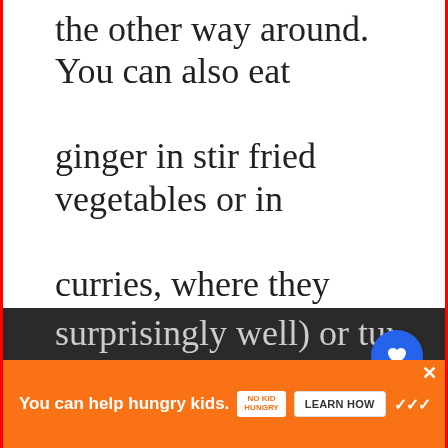the other way around. You can also eat ginger in stir fried vegetables or in curries, where they won't overpower the dish's flavors. Also, try consuming ginger along with garlic (which works surprisingly well) or turmeric (another
[Figure (screenshot): UI overlay elements: heart/like button (blue circle), share button (white circle with shadow), 'What's Next' panel with food image and text 'Can you eat salmon 2 da...']
[Figure (screenshot): Orange advertisement banner at bottom: 'You can help hungry kids.' with No Kid Hungry logo and 'LEARN HOW' button. Close X button top right. Watermark logo bottom right.]